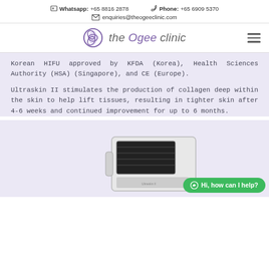Whatsapp: +65 8816 2878   Phone: +65 6909 5370   enquiries@theogeeclinic.com
[Figure (logo): The Ogee Clinic logo with circular icon and italic text 'the Ogee clinic', plus hamburger menu icon]
Korean HIFU approved by KFDA (Korea), Health Sciences Authority (HSA) (Singapore), and CE (Europe).
Ultraskin II stimulates the production of collagen deep within the skin to help lift tissues, resulting in tighter skin after 4-6 weeks and continued improvement for up to 6 months.
[Figure (photo): Medical HIFU device (Ultraskin II) showing handpiece/transducer unit, partially visible at bottom of page]
Hi, how can I help?